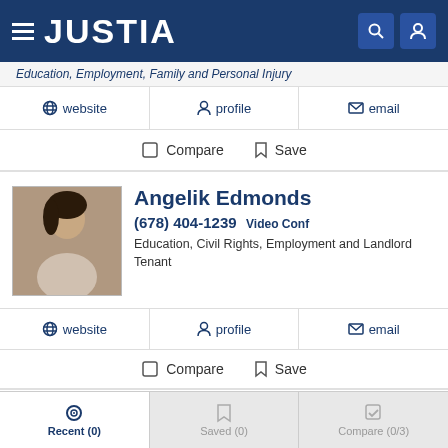JUSTIA
Education, Employment, Family and Personal Injury
website | profile | email
Compare  Save
Angelik Edmonds
(678) 404-1239 Video Conf
Education, Civil Rights, Employment and Landlord Tenant
website | profile | email
Compare  Save
Patrick McKee
Recent (0)  Saved (0)  Compare (0/3)